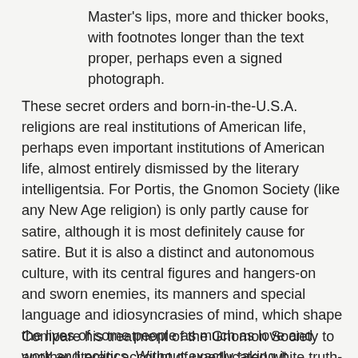Master's lips, more and thicker books, with footnotes longer than the text proper, perhaps even a signed photograph.
These secret orders and born-in-the-U.S.A. religions are real institutions of American life, perhaps even important institutions of American life, almost entirely dismissed by the literary intelligentsia. For Portis, the Gnomon Society (like any New Age religion) is only partly cause for satire, although it is most definitely cause for satire. But it is also a distinct and autonomous culture, with its central figures and hangers-on and sworn enemies, its manners and special language and idiosyncrasies of mind, which shape the lives of some people as much as love and work and politics. Without exactly taking it seriously, Portis finds it remarkable—remarkable perhaps that anyone at all finds it believable—but not grotesque or freakish so much as distinctively American, a home-made institution of independence and self-reliance.
Compare his treatment of the Gnomon Society to another literary account of uneducated white truth-seekers (because